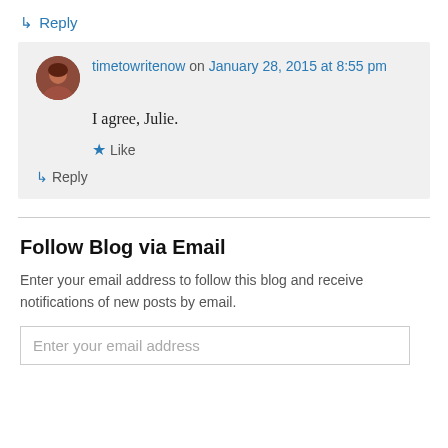↳ Reply
timetowritenow on January 28, 2015 at 8:55 pm
I agree, Julie.
★ Like
↳ Reply
Follow Blog via Email
Enter your email address to follow this blog and receive notifications of new posts by email.
Enter your email address